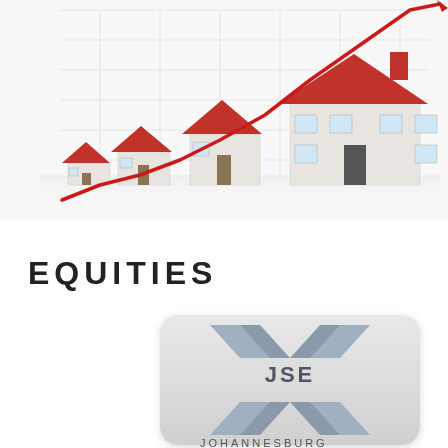[Figure (illustration): Real estate growth illustration: four white houses with red roofs of increasing size arranged left to right on a reflective surface, with a rising red line graph overlaid in the background on a grid, suggesting property value growth.]
EQUITIES
[Figure (logo): JSE (Johannesburg Stock Exchange) logo: a metallic silver X-shaped mark made of two crossing angular chevron shapes above and below, with 'JSE' text in the center, on a rounded rectangle light gray background.]